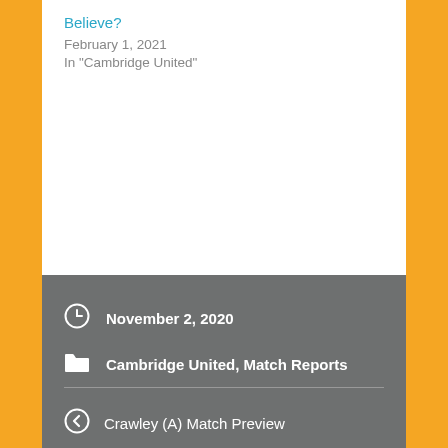Believe?
February 1, 2021
In "Cambridge United"
November 2, 2020
Cambridge United, Match Reports
Crawley (A) Match Preview
The A–Z of Cambridge United: P–T
Leave a Reply
Your email address will not be published. Required fields are marked